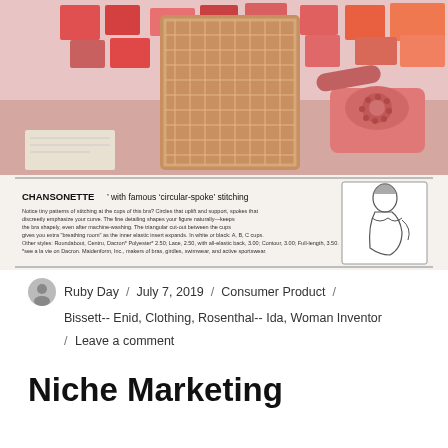[Figure (photo): Vintage advertisement image: top portion shows a retro illustration of a woman in a pink plaid outfit leaning on a desk with a pink rotary telephone and colorful boxes in background. Bottom portion shows a Maidenform Chansonette bra advertisement with text and a line drawing of a woman wearing a bra.]
Ruby Day / July 7, 2019 / Consumer Product / Bissett-- Enid, Clothing, Rosenthal-- Ida, Woman Inventor / Leave a comment
Niche Marketing